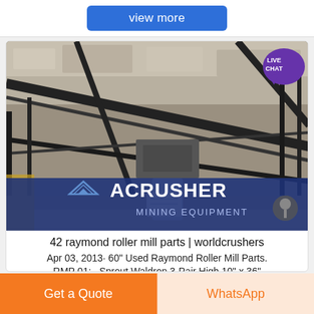view more
[Figure (photo): Mining equipment site photo with a worker holding blueprints in front of conveyor belt machinery and rock face. ACRUSHER MINING EQUIPMENT logo overlaid at bottom.]
42 raymond roller mill parts | worldcrushers
Apr 03, 2013· 60" Used Raymond Roller Mill Parts. RMP 01: . Sprout Waldron 3-Pair High 10" x 36" Roller Mill, carbon steel construction, adjustable
Get a Quote
WhatsApp